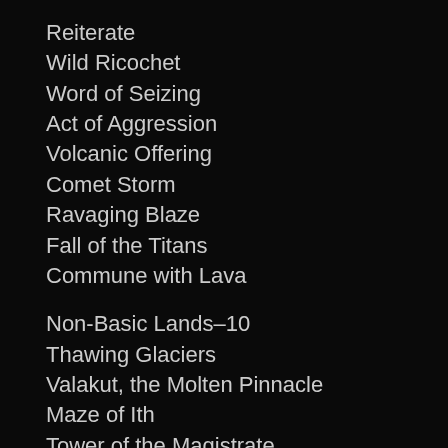Reiterate
Wild Ricochet
Word of Seizing
Act of Aggression
Volcanic Offering
Comet Storm
Ravaging Blaze
Fall of the Titans
Commune with Lava
Non-Basic Lands–10
Thawing Glaciers
Valakut, the Molten Pinnacle
Maze of Ith
Tower of the Magistrate
Arcane Lighthouse
Nykthos, Shrine to Nyx